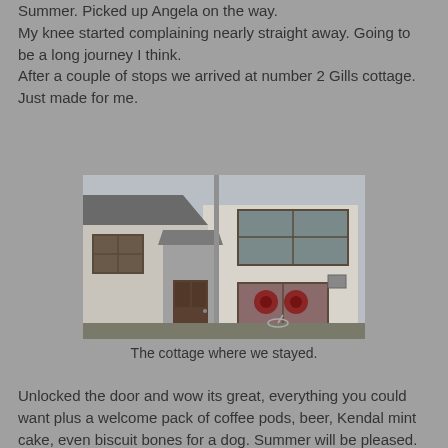Summer. Picked up Angela on the way.
My knee started complaining nearly straight away. Going to be a long journey I think.
After a couple of stops we arrived at number 2 Gills cottage. Just made for me.
[Figure (photo): Photograph of a two-storey rendered cottage exterior with a dark wooden front door, drainpipe, and a window with red poppy decorations visible.]
The cottage where we stayed.
Unlocked the door and wow its great, everything you could want plus a welcome pack of coffee pods, beer, Kendal mint cake, even biscuit bones for a dog. Summer will be pleased.